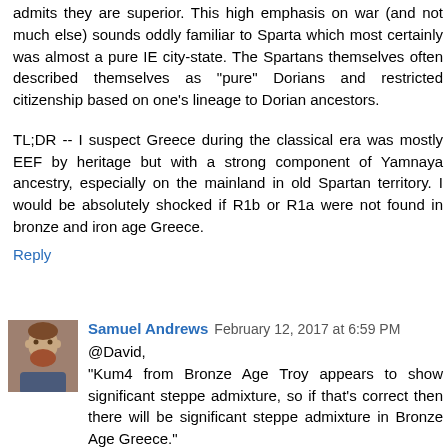admits they are superior. This high emphasis on war (and not much else) sounds oddly familiar to Sparta which most certainly was almost a pure IE city-state. The Spartans themselves often described themselves as "pure" Dorians and restricted citizenship based on one's lineage to Dorian ancestors.
TL;DR -- I suspect Greece during the classical era was mostly EEF by heritage but with a strong component of Yamnaya ancestry, especially on the mainland in old Spartan territory. I would be absolutely shocked if R1b or R1a were not found in bronze and iron age Greece.
Reply
Samuel Andrews  February 12, 2017 at 6:59 PM
@David,
"Kum4 from Bronze Age Troy appears to show significant steppe admixture, so if that's correct then there will be significant steppe admixture in Bronze Age Greece."
Who's Kum4? I thought the youngest Greek DNA sample is